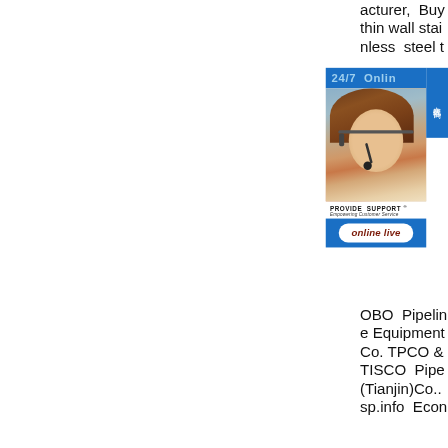acturer, Buy thin wall stainless steel t
[Figure (infographic): 24/7 Online support widget with Chinese tab (在线咨询), photo of smiling woman with headset, PROVIDE SUPPORT® Empowering Customer Service branding, and online live button]
OBO Pipeline Equipment Co. TPCO & TISCO Pipe (Tianjin)Co.. sp.info Econ